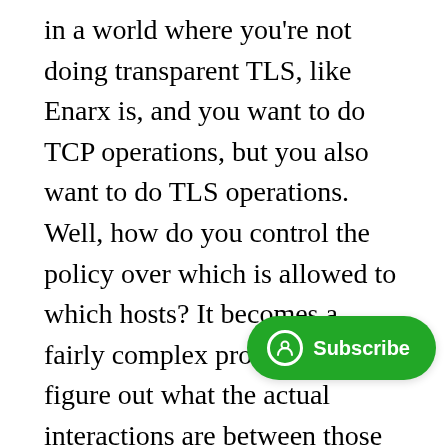in a world where you're not doing transparent TLS, like Enarx is, and you want to do TCP operations, but you also want to do TLS operations. Well, how do you control the policy over which is allowed to which hosts? It becomes a fairly complex problem to figure out what the actual interactions are between those things. And the reason for that is because TLS is a species of TCP. So now you have to, on every packet, you have to analyze, okay, if TLS isn't allowed, is this packet that I'm receiving on TCP actually, it's a TLS packet. And if it is, then I have to evaluate my policy. So now we're sort of forcing everyone into deep packet inspection, which is probably not a place where we want to be. So we really need some good thinking about this. And really, this is just an invitation... know there's a lot of people in this roo... about WASI, that care about networking. So this is a really good opportunity to contribute to this discussion, and help...
[Figure (other): Green Subscribe button with user icon in the bottom-right area of the page]